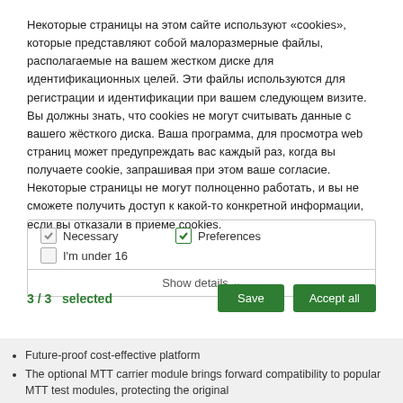Некоторые страницы на этом сайте используют «cookies», которые представляют собой малоразмерные файлы, располагаемые на вашем жестком диске для идентификационных целей. Эти файлы используются для регистрации и идентификации при вашем следующем визите. Вы должны знать, что cookies не могут считывать данные с вашего жёсткого диска. Ваша программа, для просмотра web страниц может предупреждать вас каждый раз, когда вы получаете cookie, запрашивая при этом ваше согласие. Некоторые страницы не могут полноценно работать, и вы не сможете получить доступ к какой-то конкретной информации, если вы отказали в приеме cookies.
Necessary | Preferences | I'm under 16
Show details
3 / 3   selected
Save | Accept all
Future-proof cost-effective platform
The optional MTT carrier module brings forward compatibility to popular MTT test modules, protecting the original
investment and facilitating easy transition
GUI familiarity across different test modules and other VeEX products